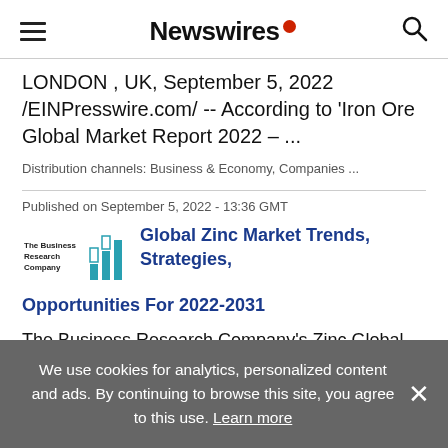Newswires
LONDON , UK, September 5, 2022 /EINPresswire.com/ -- According to 'Iron Ore Global Market Report 2022 – ...
Distribution channels: Business & Economy, Companies ...
Published on September 5, 2022 - 13:36 GMT
Global Zinc Market Trends, Strategies, Opportunities For 2022-2031
The Business Research Company's Zinc Global Market
We use cookies for analytics, personalized content and ads. By continuing to browse this site, you agree to this use. Learn more